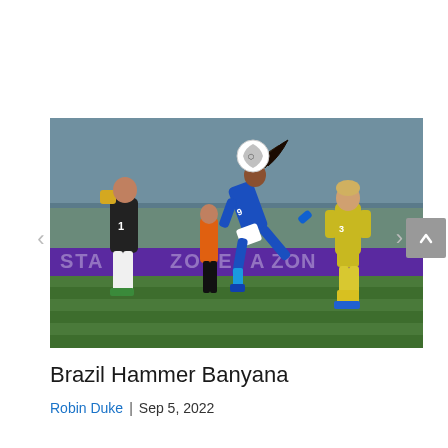[Figure (photo): Women's soccer match action shot: a player in blue kit leaps and kicks toward goal, a goalkeeper in black kit numbered 1 reaches for the ball, and an Australian player in yellow kit watches on. Stadium with purple advertising boards reading 'STA ZONE' in background.]
Brazil Hammer Banyana
Robin Duke | Sep 5, 2022